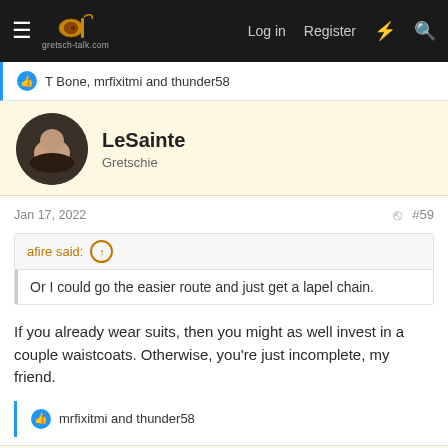gretsch-talk.com — Log in  Register
T Bone, mrfixitmi and thunder58
LeSainte
Gretschie
Jan 17, 2022  #59
afire said: ↑
Or I could go the easier route and just get a lapel chain.
If you already wear suits, then you might as well invest in a couple waistcoats. Otherwise, you're just incomplete, my friend.
mrfixitmi and thunder58
thunder58
Super Moderator  Staff member